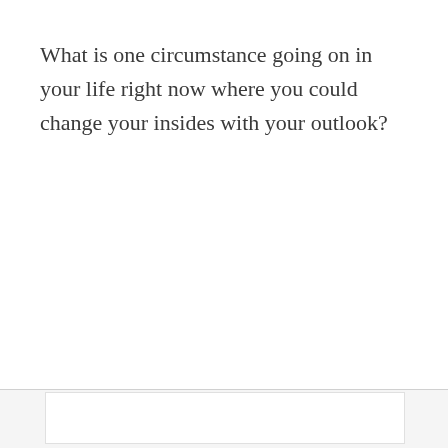What is one circumstance going on in your life right now where you could change your insides with your outlook?